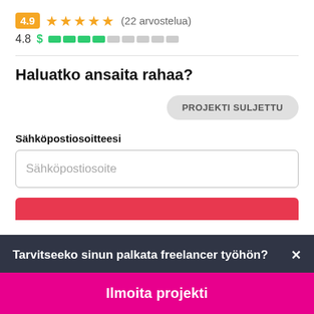[Figure (screenshot): Rating row showing 4.9 badge with 5 orange stars and (22 arvostelua) text]
4.8 $ ████████ (price bar indicator)
Haluatko ansaita rahaa?
PROJEKTI SULJETTU
Sähköpostiosoitteesi
Sähköpostiosoite
Tarvitseeko sinun palkata freelancer työhön?
Ilmoita projekti